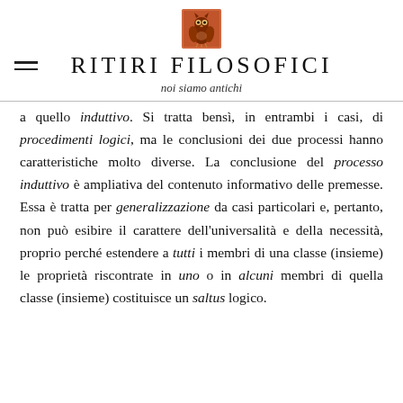[Figure (logo): Owl logo in red/orange stamp style for Ritiri Filosofici]
RITIRI FILOSOFICI
noi siamo antichi
a quello induttivo. Si tratta bensì, in entrambi i casi, di procedimenti logici, ma le conclusioni dei due processi hanno caratteristiche molto diverse. La conclusione del processo induttivo è ampliativa del contenuto informativo delle premesse. Essa è tratta per generalizzazione da casi particolari e, pertanto, non può esibire il carattere dell'universalità e della necessità, proprio perché estendere a tutti i membri di una classe (insieme) le proprietà riscontrate in uno o in alcuni membri di quella classe (insieme) costituisce un saltus logico.